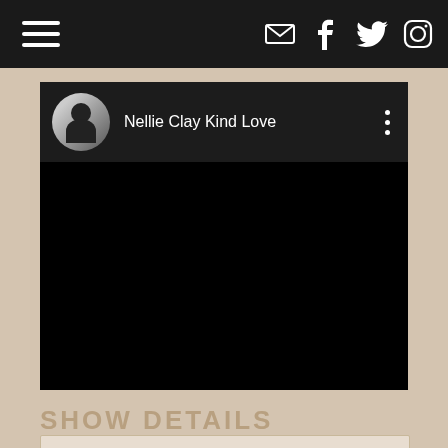Navigation bar with hamburger menu, email, Facebook, Twitter, Instagram icons
[Figure (screenshot): Embedded video player showing 'Nellie Clay Kind Love' with a circular avatar thumbnail, black video area, and a three-dot menu icon]
SHOW DETAILS
[Figure (other): Bottom card/box, partially visible, light beige with border]